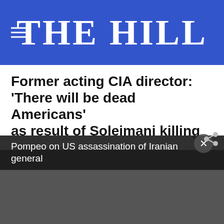THE HILL
Former acting CIA director: 'There will be dead Americans' as result of Soleimani killing
BY MORGAN GSTALTER - 01/04/20 9:17 AM ET
[Figure (infographic): Social sharing buttons: Facebook SHARE, Twitter TWEET, More MORE]
Pompeo on US assassination of Iranian general